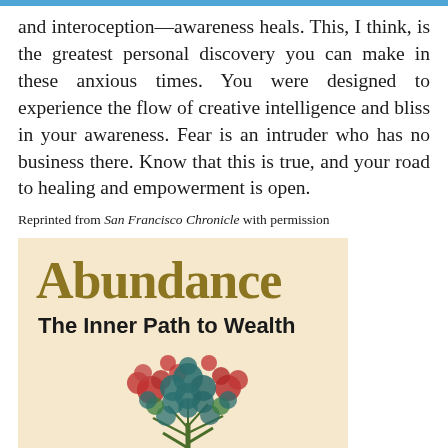and interoception—awareness heals. This, I think, is the greatest personal discovery you can make in these anxious times. You were designed to experience the flow of creative intelligence and bliss in your awareness. Fear is an intruder who has no business there. Know that this is true, and your road to healing and empowerment is open.
Reprinted from San Francisco Chronicle with permission
[Figure (illustration): Book cover of 'Abundance: The Inner Path to Wealth' with a cream/beige background, the title 'Abundance' in large gold serif font, subtitle 'The Inner Path to Wealth' in bold black sans-serif, and a decorative stylized tree with red, blue, and green foliage at the bottom.]